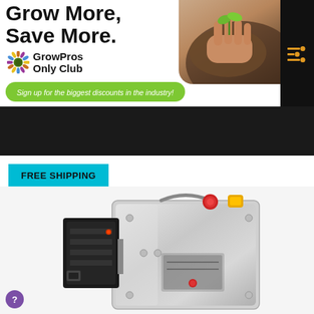[Figure (illustration): GrowPros Only Club banner advertisement with bold text 'Grow More, Save More.' and a sunflower logo, featuring a hand holding a seedling in soil on the right side and a green pill-shaped bar reading 'Sign up for the biggest discounts in the industry!']
[Figure (photo): Product photo showing a stainless steel industrial machine/trimmer with a black motor/component on the left side, red emergency stop button on top, and yellow indicator on top right, on a white background. A 'FREE SHIPPING' teal badge overlays the top left corner.]